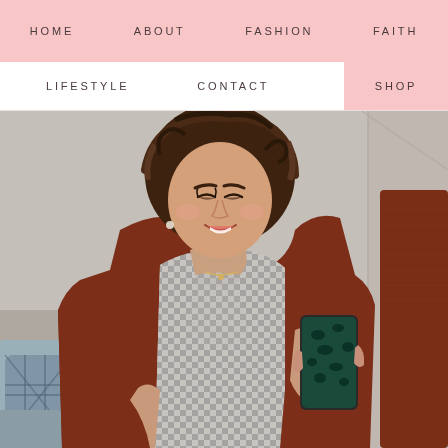HOME   ABOUT   FASHION   FAITH
LIFESTYLE   CONTACT   SHOP
[Figure (photo): Woman taking a mirror selfie wearing a rust/brown knit cardigan over a houndstooth patterned blouse with a bow tie, holding a phone with a leopard print case. She has short curly brown hair and is smiling. The background shows a room with decorative pillows on a couch.]